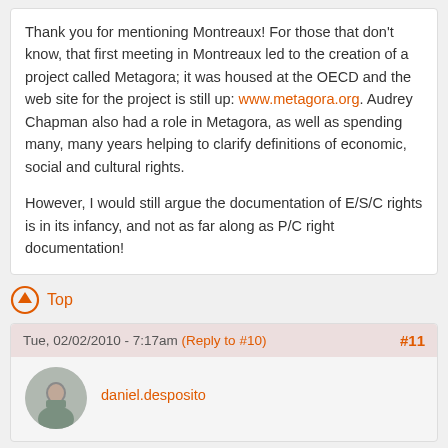Thank you for mentioning Montreaux!  For those that don't know, that first meeting in Montreaux led to the creation of a project called Metagora; it was housed at the OECD and the web site for the project is still up: www.metagora.org.  Audrey Chapman also had a role in Metagora, as well as spending many, many years helping to clarify definitions of economic, social and cultural rights.

However, I would still argue the documentation of E/S/C rights is in its infancy, and not as far along as P/C right documentation!
↑ Top
Tue, 02/02/2010 - 7:17am (Reply to #10) #11
[Figure (photo): Avatar photo of daniel.desposito, a man in a suit]
daniel.desposito